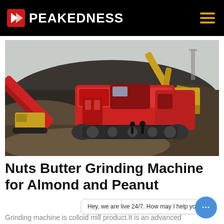PEAKEDNESS
[Figure (photo): Large red industrial mobile crushing/grinding machine working at a gravel or rock quarry site, with a yellow excavator visible in the background and aggregate piles surrounding the machinery.]
Nuts Butter Grinding Machine for Almond and Peanut
Hey, we are live 24/7. How may I help you?
Grinding machine is colloid mill product.It is an advanced